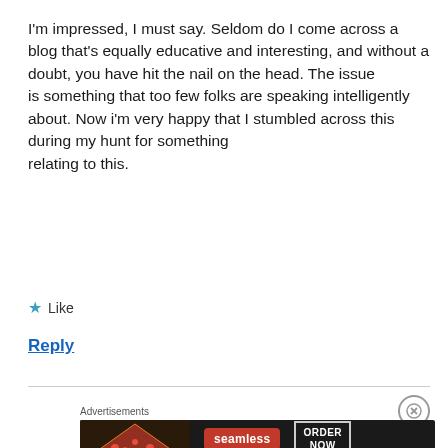I'm impressed, I must say. Seldom do I come across a blog that's equally educative and interesting, and without a doubt, you have hit the nail on the head. The issue is something that too few folks are speaking intelligently about. Now i'm very happy that I stumbled across this during my hunt for something relating to this.
★ Like
Reply
[Figure (infographic): Seamless food delivery advertisement banner showing pizza image on left, red Seamless logo in center, and ORDER NOW button on right, with Advertisements label above]